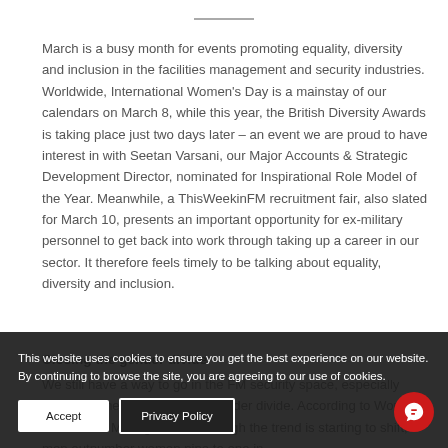March is a busy month for events promoting equality, diversity and inclusion in the facilities management and security industries. Worldwide, International Women's Day is a mainstay of our calendars on March 8, while this year, the British Diversity Awards is taking place just two days later – an event we are proud to have interest in with Seetan Varsani, our Major Accounts & Strategic Development Director, nominated for Inspirational Role Model of the Year. Meanwhile, a ThisWeekinFM recruitment fair, also slated for March 10, presents an important opportunity for ex-military personnel to get back into work through taking up a career in our sector. It therefore feels timely to be talking about equality, diversity and inclusion.
Closing the gender divide
We still have a way to go in the FM security space, especially when it comes to closing the gender divide. According to Women in Facilities Management, although the trend is starting to shift, men outnumber women nine to one in
This website uses cookies to ensure you get the best experience on our website. By continuing to browse the site, you are agreeing to our use of cookies.